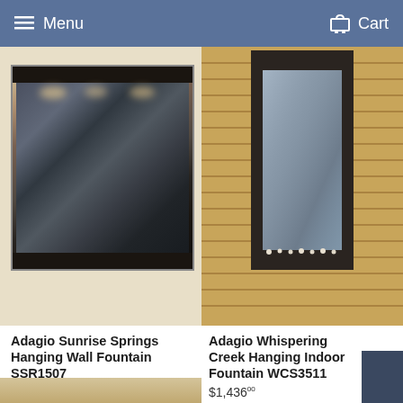Menu   Cart
[Figure (photo): Wall-mounted indoor water fountain with black frame and dark marble/granite panel, shown in a living room setting with warm lighting]
Adagio Sunrise Springs Hanging Wall Fountain SSR1507
Sale $2,339.00   Reg. $2,532.99
[Figure (photo): Tall hanging indoor water fountain with dark bronze frame and blue-grey slate panel, shown against a bamboo wall in a living room setting]
Adagio Whispering Creek Hanging Indoor Fountain WCS3511
$1,436.00